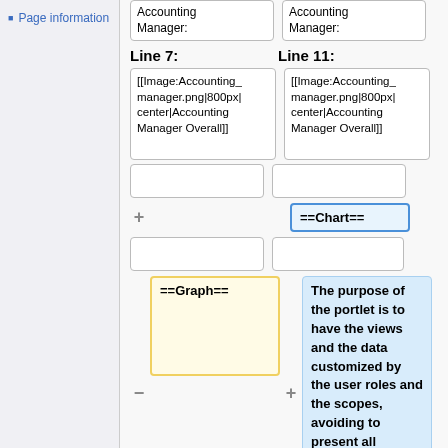Page information
Accounting Manager:
Accounting Manager:
Line 7:
Line 11:
[[Image:Accounting_manager.png|800px|center|Accounting Manager Overall]]
[[Image:Accounting_manager.png|800px|center|Accounting Manager Overall]]
==Chart==
==Graph==
The purpose of the portlet is to have the views and the data customized by the user roles and the scopes, avoiding to present all accounting records as the first glance and